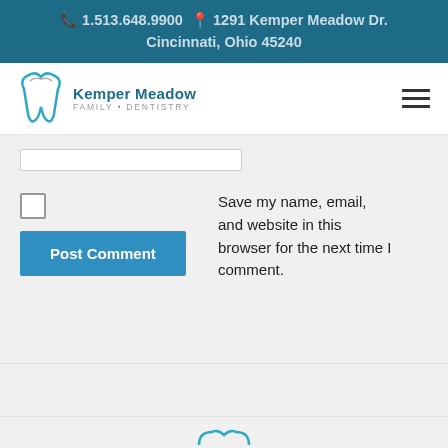📞 1.513.648.9900 📍 1291 Kemper Meadow Dr. Cincinnati, Ohio 45240
[Figure (logo): Kemper Meadow Family Dentistry logo with teal tooth icon]
Save my name, email, and website in this browser for the next time I comment.
Post Comment
Call Us
Text Us